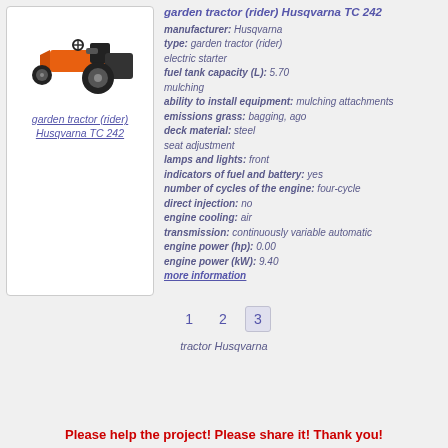[Figure (photo): Photo of Husqvarna TC 242 garden tractor (rider), orange and black, viewed from left side]
garden tractor (rider) Husqvarna TC 242
garden tractor (rider) Husqvarna TC 242
manufacturer: Husqvarna
type: garden tractor (rider)
electric starter
fuel tank capacity (L): 5.70
mulching
ability to install equipment: mulching attachments
emissions grass: bagging, ago
deck material: steel
seat adjustment
lamps and lights: front
indicators of fuel and battery: yes
number of cycles of the engine: four-cycle
direct injection: no
engine cooling: air
transmission: continuously variable automatic
engine power (hp): 0.00
engine power (kW): 9.40
more information
1 2 3
tractor Husqvarna
Please help the project! Please share it! Thank you!